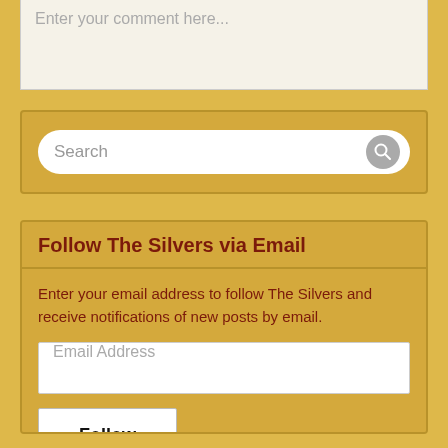Enter your comment here...
Search
Follow The Silvers via Email
Enter your email address to follow The Silvers and receive notifications of new posts by email.
Email Address
Follow
Join 891 other subscribers